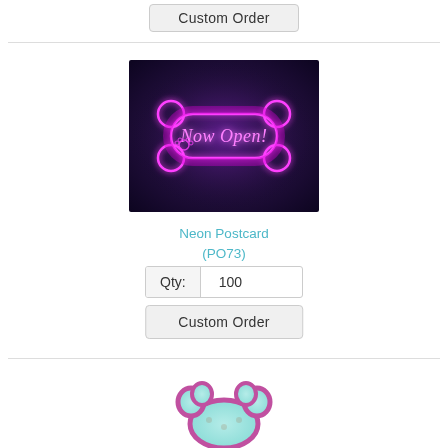Custom Order
[Figure (photo): Neon sign in shape of a dog bone on dark purple background with pink/magenta neon glow, text reads 'Now Open!' with a paw print icon]
Neon Postcard
(PO73)
| Qty: | 100 |
| --- | --- |
Custom Order
[Figure (illustration): Paw-shaped sticker/magnet with pink/purple border and teal background featuring small dog/cat illustrations]